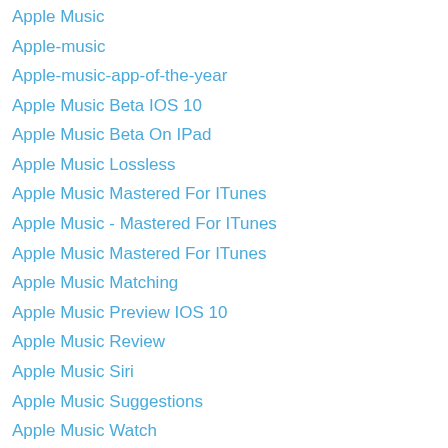Apple Music
Apple-music
Apple-music-app-of-the-year
Apple Music Beta IOS 10
Apple Music Beta On IPad
Apple Music Lossless
Apple Music Mastered For ITunes
Apple Music - Mastered For ITunes
Apple Music Mastered For ITunes
Apple Music Matching
Apple Music Preview IOS 10
Apple Music Review
Apple Music Siri
Apple Music Suggestions
Apple Music Watch
Apple Music Wishlist
Apple's Customer Service Is A Joke
Apple Spartan
AppleTV
Apple Tv2 Airplay
Apple TV 3rd Gen